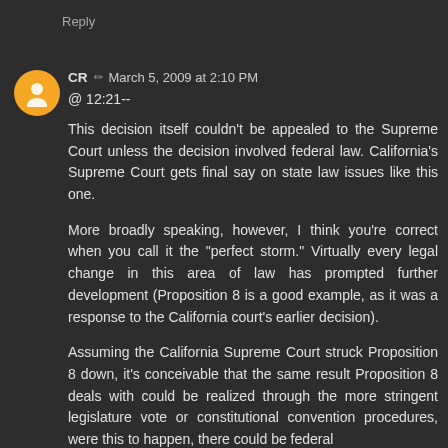Reply
CR ✏ March 5, 2009 at 2:10 PM
@ 12:21--
This decision itself couldn't be appealed to the Supreme Court unless the decision involved federal law. California's Supreme Court gets final say on state law issues like this one.
More broadly speaking, however, I think you're correct when you call it the "perfect storm." Virtually every legal change in this area of law has prompted further development (Proposition 8 is a good example, as it was a response to the California court's earlier decision).
Assuming the California Supreme Court struck Proposition 8 down, it's conceivable that the same result Proposition 8 deals with could be realized through the more stringent legislature vote or constitutional convention procedures, were this to happen, there could be federal